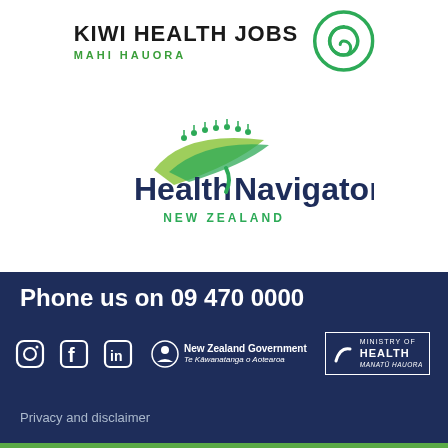[Figure (logo): Kiwi Health Jobs / Mahi Hauora logo with green koru spiral]
[Figure (logo): Health Navigator New Zealand logo with green people and leaf design]
Phone us on 09 470 0000
[Figure (logo): Social media icons: Instagram, Facebook, LinkedIn; New Zealand Government / Te Kāwanatanga o Aotearoa logo; Ministry of Health / Manatū Hauora logo]
Privacy and disclaimer